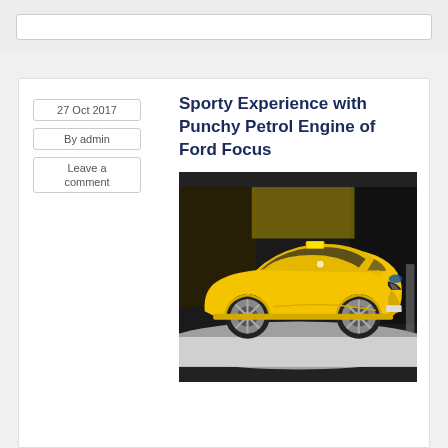Browser navigation bar (screenshot)
27 Oct 2017
By admin
Leave a comment
Sporty Experience with Punchy Petrol Engine of Ford Focus
[Figure (photo): Yellow Ford Focus hatchback car displayed at an auto show, viewed from the front-left angle on a white floor with dark background. The car has a yellow taxi light on the roof.]
Its features are of good quality with reasonable practicality Ford Focus hatchback offers great driving experience with great